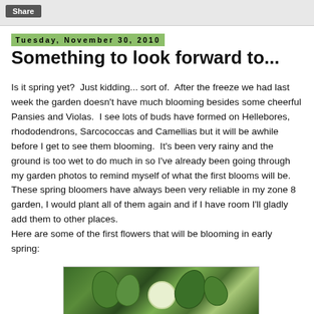Share
Tuesday, November 30, 2010
Something to look forward to...
Is it spring yet?  Just kidding... sort of.  After the freeze we had last week the garden doesn't have much blooming besides some cheerful Pansies and Violas.  I see lots of buds have formed on Hellebores, rhododendrons, Sarcococcas and Camellias but it will be awhile before I get to see them blooming.  It's been very rainy and the ground is too wet to do much in so I've already been going through my garden photos to remind myself of what the first blooms will be.  These spring bloomers have always been very reliable in my zone 8 garden, I would plant all of them again and if I have room I'll gladly add them to other places.
Here are some of the first flowers that will be blooming in early spring:
[Figure (photo): Close-up photo of green leaves and a white bloom, likely a Hellebore or Camellia bud in a garden setting]